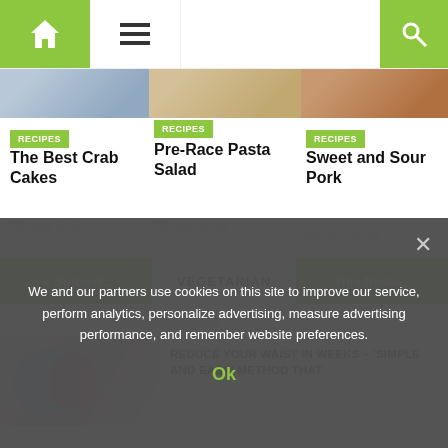[Figure (screenshot): Website navigation bar with home icon, hamburger menu, and search icon]
[Figure (photo): Food photo - crab cakes dish]
RECIPES
The Best Crab Cakes
2021-05-07
[Figure (photo): Food photo - pasta salad]
RECIPES
Pre-Race Pasta Salad
2019-10-18
[Figure (photo): Food photo - sweet and sour pork]
RECIPES
Sweet and Sour Pork
2019-05-03
◄ Spice-R...
VEGETARIAN
This Resta...
[Figure (photo): Health/fitness image with blue cup and people]
REDUCE YOUR WAIST IN WEEKS – 'SIMPLE AND EASY' METHOD THAT
We and our partners use cookies on this site to improve our service, perform analytics, personalize advertising, measure advertising performance, and remember website preferences.
Ok